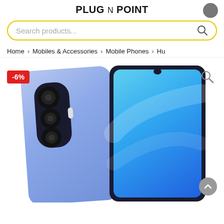PLUG n POINT
Search products...
Home > Mobiles & Accessories > Mobile Phones > Hu
[Figure (photo): Huawei smartphone shown from both the back (triple camera module visible) and front (curved edge display with dewdrop notch), in a blue/silver color. A red -6% discount badge is in the upper left. A magnifier zoom icon is in the upper right. A scroll-to-top button is at the bottom right.]